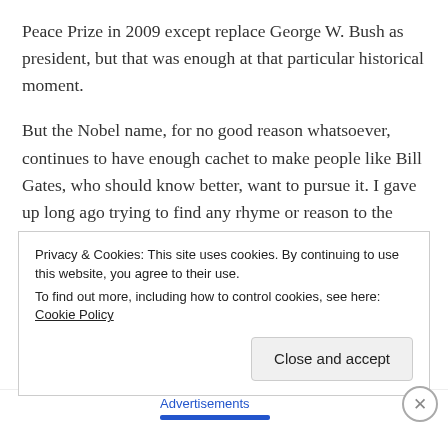Peace Prize in 2009 except replace George W. Bush as president, but that was enough at that particular historical moment.
But the Nobel name, for no good reason whatsoever, continues to have enough cachet to make people like Bill Gates, who should know better, want to pursue it. I gave up long ago trying to find any rhyme or reason to the Nobel Prize in Literature. But why should there be any rhyme or reason? The handful of members of the Swedish Academy who do the picking might as well be throwing darts at a wall as naming some writer whose
Privacy & Cookies: This site uses cookies. By continuing to use this website, you agree to their use.
To find out more, including how to control cookies, see here: Cookie Policy
Close and accept
Advertisements